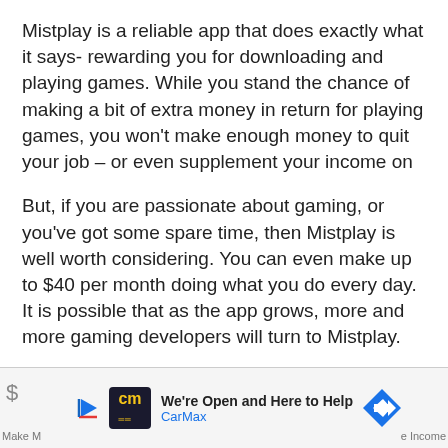Mistplay is a reliable app that does exactly what it says- rewarding you for downloading and playing games. While you stand the chance of making a bit of extra money in return for playing games, you won't make enough money to quit your job – or even supplement your income on
But, if you are passionate about gaming, or you've got some spare time, then Mistplay is well worth considering. You can even make up to $40 per month doing what you do every day. It is possible that as the app grows, more and more gaming developers will turn to Mistplay.
[Figure (other): CarMax advertisement banner. Shows CarMax logo (yellow 'cm' text on dark background), text 'We're Open and Here to Help' and 'CarMax' in blue, with navigation arrow icon. Partial text 'Make M...' on left and '...e Income' on right sides.]